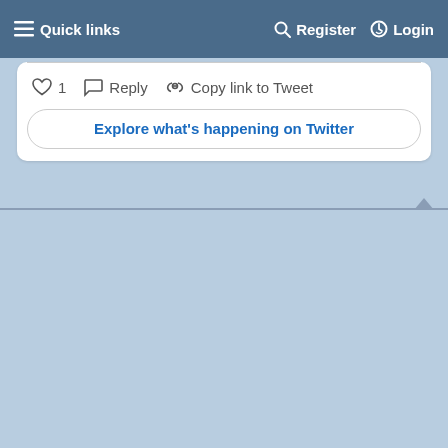Quick links   Register   Login
[Figure (screenshot): Twitter embedded tweet card showing like (heart) icon with count 1, Reply button, Copy link to Tweet button, and Explore what's happening on Twitter button]
Explore what's happening on Twitter